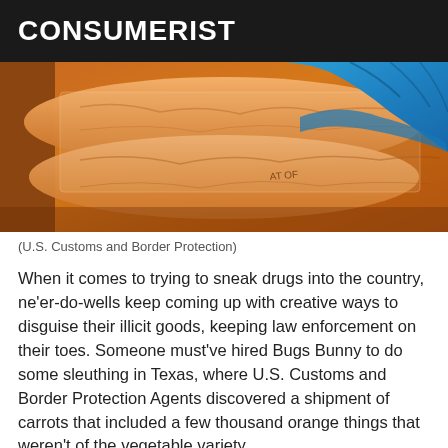CONSUMERIST
[Figure (photo): Close-up photo of orange carrot-shaped packages in plastic bags, with a blue-gloved hand visible at top right]
(U.S. Customs and Border Protection)
When it comes to trying to sneak drugs into the country, ne'er-do-wells keep coming up with creative ways to disguise their illicit goods, keeping law enforcement on their toes. Someone must've hired Bugs Bunny to do some sleuthing in Texas, where U.S. Customs and Border Protection Agents discovered a shipment of carrots that included a few thousand orange things that weren't of the vegetable variety.
Officials say they found a ton of marijuana packed into 2,800 long, orange packages that were hidden inside a commercial shipment of fresh carrots, reports CBS DEW